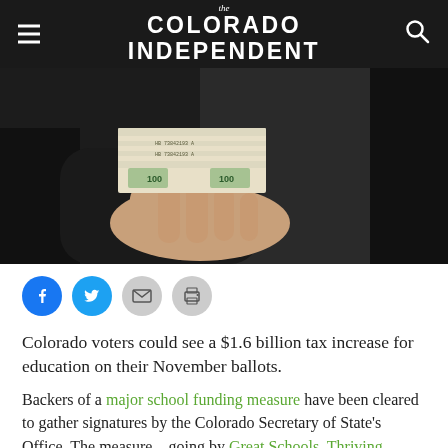The Colorado Independent
[Figure (photo): Hand holding a thick stack of $100 US dollar bills against a dark background]
[Figure (infographic): Row of four social sharing buttons: Facebook (blue), Twitter (blue), Email (gray), Print (gray)]
Colorado voters could see a $1.6 billion tax increase for education on their November ballots.
Backers of a major school funding measure have been cleared to gather signatures by the Colorado Secretary of State's Office. The measure – going by Great Schools, Thriving Communities – would increase the corporate tax rate and increase